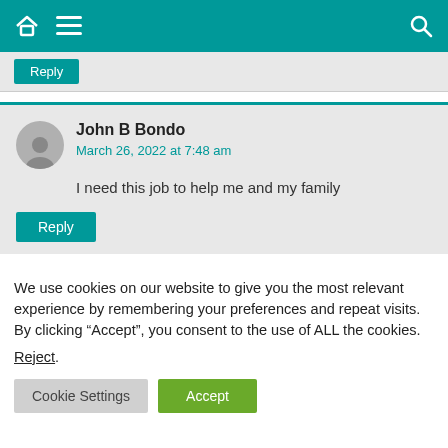Navigation bar with home, menu, and search icons
Reply
John B Bondo
March 26, 2022 at 7:48 am
I need this job to help me and my family
Reply
We use cookies on our website to give you the most relevant experience by remembering your preferences and repeat visits. By clicking “Accept”, you consent to the use of ALL the cookies.
Reject.
Cookie Settings   Accept